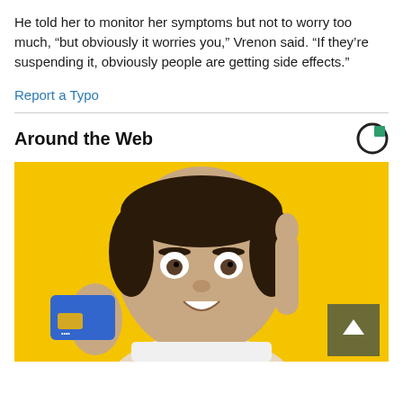He told her to monitor her symptoms but not to worry too much, “but obviously it worries you,” Vrenon said. “If they’re suspending it, obviously people are getting side effects.”
Report a Typo
Around the Web
[Figure (photo): Young man with surprised expression holding a blue credit card and pointing upward with one finger, against a yellow background. A dark olive/khaki scroll-to-top button with an upward arrow is visible in the bottom right corner.]